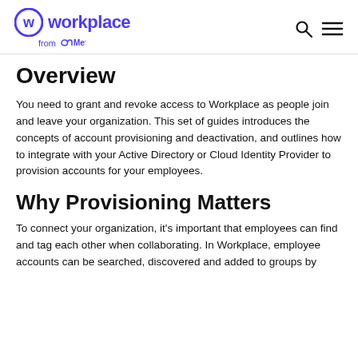Workplace from Meta
Overview
You need to grant and revoke access to Workplace as people join and leave your organization. This set of guides introduces the concepts of account provisioning and deactivation, and outlines how to integrate with your Active Directory or Cloud Identity Provider to provision accounts for your employees.
Why Provisioning Matters
To connect your organization, it's important that employees can find and tag each other when collaborating. In Workplace, employee accounts can be searched, discovered and added to groups by